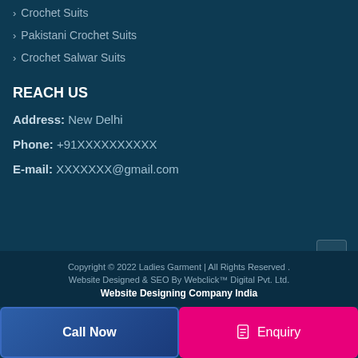> Crochet Suits
> Pakistani Crochet Suits
> Crochet Salwar Suits
REACH US
Address: New Delhi
Phone: +91XXXXXXXXXX
E-mail: XXXXXXX@gmail.com
Copyright © 2022 Ladies Garment | All Rights Reserved . Website Designed & SEO By Webclick™ Digital Pvt. Ltd. Website Designing Company India
Call Now
Enquiry